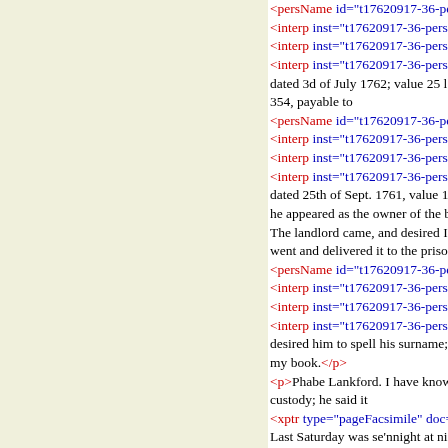<persName id="t17620917-36-pe... <interp inst="t17620917-36-perso... <interp inst="t17620917-36-perso... <interp inst="t17620917-36-perso... dated 3d of July 1762; value 25 l. 354, payable to <persName id="t17620917-36-pe... <interp inst="t17620917-36-perso... <interp inst="t17620917-36-perso... <interp inst="t17620917-36-perso... dated 25th of Sept. 1761, value 10 he appeared as the owner of the b The landlord came, and desired I went and delivered it to the priso <persName id="t17620917-36-pe... <interp inst="t17620917-36-perso... <interp inst="t17620917-36-perso... <interp inst="t17620917-36-perso... desired him to spell his surname; my book.</p> <p>Phabe Lankford. I have known custody; he said it <xptr type="pageFacsimile" doc=" Last Saturday was se'nnight at nig he would call again in an hour's t